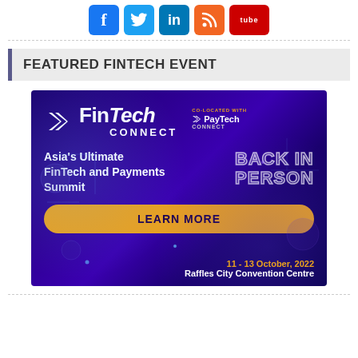[Figure (logo): Row of social media icons: Facebook (blue), Twitter (light blue), LinkedIn (blue), RSS (orange), YouTube (red with 'tube' text)]
FEATURED FINTECH EVENT
[Figure (illustration): FinTech Connect advertisement banner with dark purple/blue gradient background, showing 'FinTech CONNECT' logo co-located with PayTech Connect. Text: 'Asia's Ultimate FinTech and Payments Summit BACK IN PERSON', yellow 'LEARN MORE' button, date '11 - 13 October, 2022', venue 'Raffles City Convention Centre']